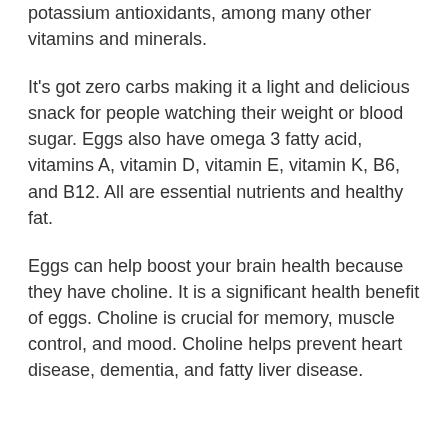potassium antioxidants, among many other vitamins and minerals.
It's got zero carbs making it a light and delicious snack for people watching their weight or blood sugar. Eggs also have omega 3 fatty acid, vitamins A, vitamin D, vitamin E, vitamin K, B6, and B12. All are essential nutrients and healthy fat.
Eggs can help boost your brain health because they have choline. It is a significant health benefit of eggs. Choline is crucial for memory, muscle control, and mood. Choline helps prevent heart disease, dementia, and fatty liver disease.